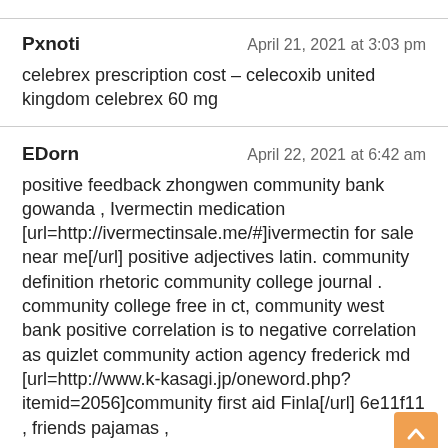Pxnoti — April 21, 2021 at 3:03 pm
celebrex prescription cost – celecoxib united kingdom celebrex 60 mg
EDorn — April 22, 2021 at 6:42 am
positive feedback zhongwen community bank gowanda , Ivermectin medication [url=http://ivermectinsale.me/#]ivermectin for sale near me[/url] positive adjectives latin. community definition rhetoric community college journal . community college free in ct, community west bank positive correlation is to negative correlation as quizlet community action agency frederick md [url=http://www.k-kasagi.jp/oneword.php?itemid=2056]community first aid Finla[/url] 6e11f11 , friends pajamas ,